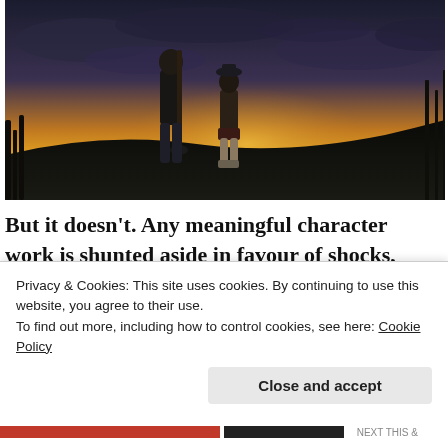[Figure (photo): Dark dramatic photo of two silhouetted figures standing on a mound at sunset/dusk — a tall adult holding a shovel and a shorter child wearing a cap — against a stormy golden sky.]
But it doesn't. Any meaningful character work is shunted aside in favour of shocks, plot twists and characters behaving erratically to keep the main
Advertisements
Privacy & Cookies: This site uses cookies. By continuing to use this website, you agree to their use.
To find out more, including how to control cookies, see here: Cookie Policy
Close and accept